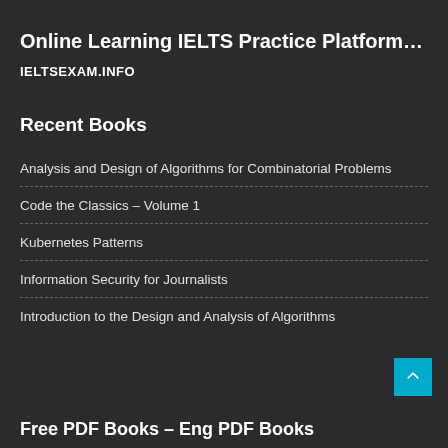Online Learning IELTS Practice Platform…
IELTSEXAM.INFO
Recent Books
Analysis and Design of Algorithms for Combinatorial Problems
Code the Classics – Volume 1
Kubernetes Patterns
Information Security for Journalists
Introduction to the Design and Analysis of Algorithms
Free PDF Books – Eng PDF Books